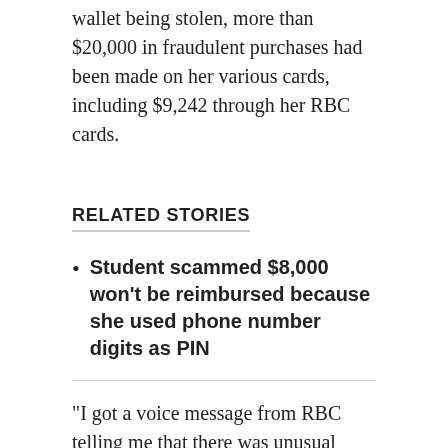wallet being stolen, more than $20,000 in fraudulent purchases had been made on her various cards, including $9,242 through her RBC cards.
RELATED STORIES
Student scammed $8,000 won't be reimbursed because she used phone number digits as PIN
"I got a voice message from RBC telling me that there was unusual activity on my credit card," Ego-Aguirre told CTV News Toronto.
Ego-Aguirre said she called RBC back immediately to discuss the transactions, but